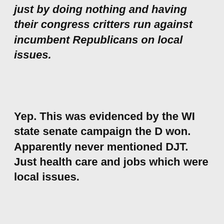just by doing nothing and having their congress critters run against incumbent Republicans on local issues.
Yep. This was evidenced by the WI state senate campaign the D won. Apparently never mentioned DJT. Just health care and jobs which were local issues.
@Brent: “monopsony” was his new word of the day, I guess.
I’m going to write a post about a continuing Supreme Court case if I get ten minutes today. It’s about DOL and the limits of Chevron